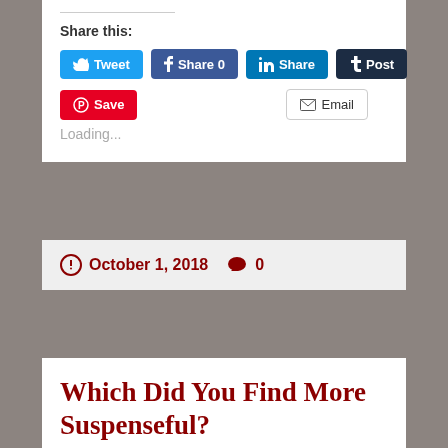Share this:
[Figure (screenshot): Social sharing buttons: Tweet (Twitter, blue), Share 0 (Facebook, dark blue), Share (LinkedIn, light blue), Post (Tumblr, dark navy), Save (Pinterest, red), Email (white with border)]
Loading...
October 1, 2018  0
Which Did You Find More Suspenseful?